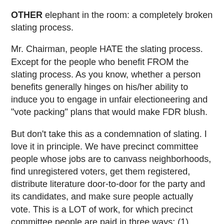OTHER elephant in the room: a completely broken slating process.
Mr. Chairman, people HATE the slating process. Except for the people who benefit FROM the slating process. As you know, whether a person benefits generally hinges on his/her ability to induce you to engage in unfair electioneering and "vote packing" plans that would make FDR blush.
But don't take this as a condemnation of slating. I love it in principle. We have precinct committee people whose jobs are to canvass neighborhoods, find unregistered voters, get them registered, distribute literature door-to-door for the party and its candidates, and make sure people actually vote. This is a LOT of work, for which precinct committee people are paid in three ways: (1) gratitude in the form of pitch-in dinners; and (2) the right to pick his or her own vice committeeperson; and (3) the right to cast a "slating" vote for which candidates the party will endorse.
No disrespect intended to the baked beans and the authority to pick a "number 2" a la Dr. Evil, but the slating vote is THE